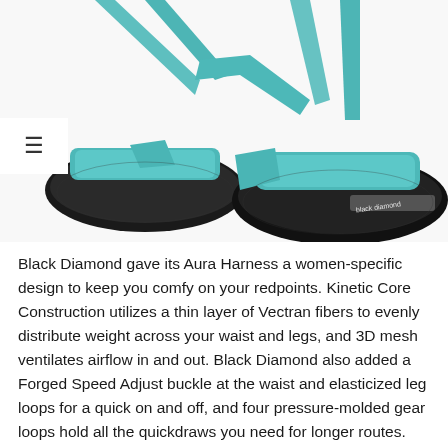[Figure (photo): Close-up photo of a Black Diamond Aura climbing harness with teal/turquoise straps and black foam-padded leg loops on a white background. A hamburger menu icon (three horizontal lines) is visible in a white box overlay on the left side.]
Black Diamond gave its Aura Harness a women-specific design to keep you comfy on your redpoints. Kinetic Core Construction utilizes a thin layer of Vectran fibers to evenly distribute weight across your waist and legs, and 3D mesh ventilates airflow in and out. Black Diamond also added a Forged Speed Adjust buckle at the waist and elasticized leg loops for a quick on and off, and four pressure-molded gear loops hold all the quickdraws you need for longer routes.